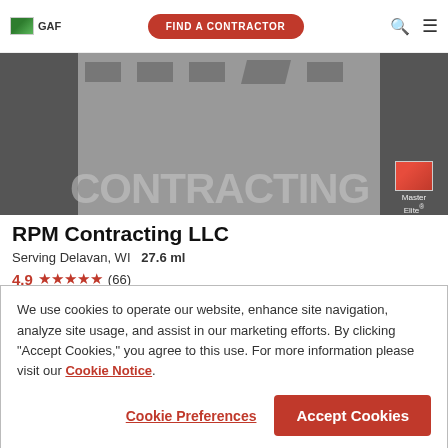GAF | FIND A CONTRACTOR
[Figure (screenshot): RPM Contracting LLC banner image with gray background, large CONTRACTING text, and Master Elite badge overlay]
RPM Contracting LLC
Serving Delavan, WI   27.6 ml
4.9 ★★★★★ (66)
(877) 776-3981   VIEW PROFILE
GAF Master Elite Roofing Contractor with over 17 years of dedicated
We use cookies to operate our website, enhance site navigation, analyze site usage, and assist in our marketing efforts. By clicking "Accept Cookies," you agree to this use. For more information please visit our Cookie Notice.
Cookie Preferences   Accept Cookies